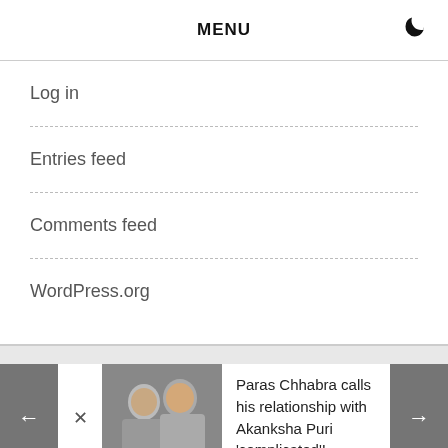MENU
Log in
Entries feed
Comments feed
WordPress.org
Paras Chhabra calls his relationship with Akanksha Puri 'complicated'!